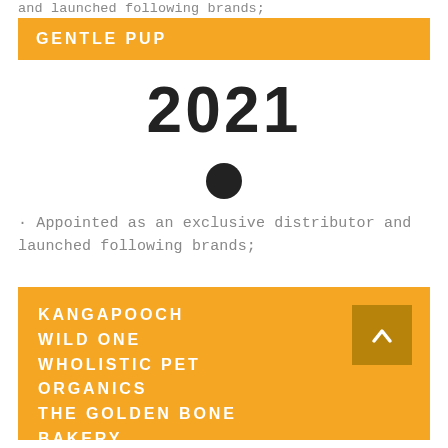and launched following brands;
GENTLE PUP
2021
· Appointed as an exclusive distributor and launched following brands;
KANGAPOOCH WILD ONE WHOLISTIC PET ORGANICS THE GOLDEN BONE BAKERY